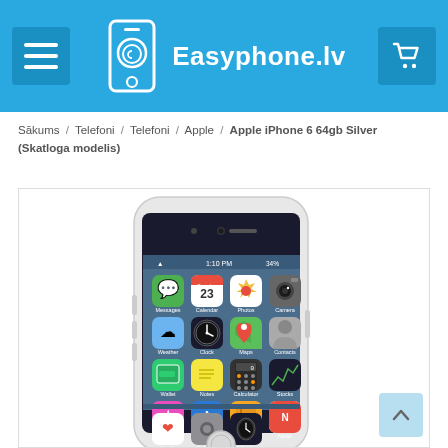[Figure (logo): Easyphone.lv website header with logo, menu button, and cart button on blue background]
Sākums / Telefoni / Telefoni / Apple / Apple iPhone 6 64gb Silver (Skatloga modelis)
[Figure (photo): Apple iPhone 6 64gb Silver phone showing home screen with iOS app icons]